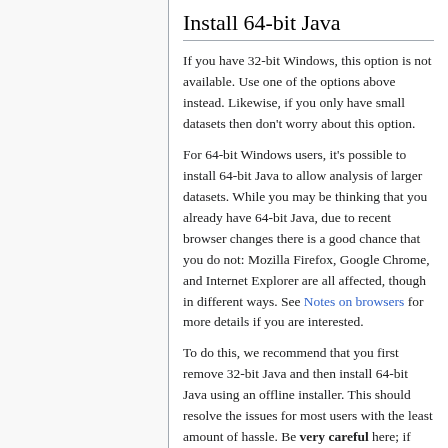Install 64-bit Java
If you have 32-bit Windows, this option is not available. Use one of the options above instead. Likewise, if you only have small datasets then don't worry about this option.
For 64-bit Windows users, it's possible to install 64-bit Java to allow analysis of larger datasets. While you may be thinking that you already have 64-bit Java, due to recent browser changes there is a good chance that you do not: Mozilla Firefox, Google Chrome, and Internet Explorer are all affected, though in different ways. See Notes on browsers for more details if you are interested.
To do this, we recommend that you first remove 32-bit Java and then install 64-bit Java using an offline installer. This should resolve the issues for most users with the least amount of hassle. Be very careful here; if you are uncomfortable uninstalling programs then you might want to consult your IT staff or a more technically-inclined colleague for help.